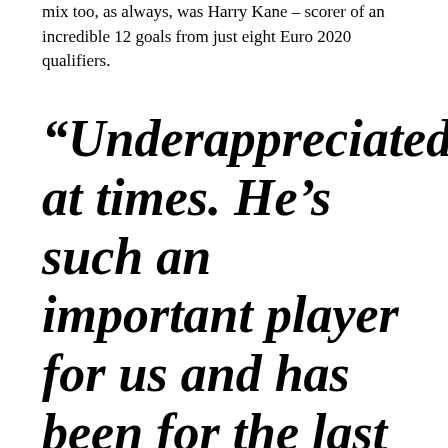mix too, as always, was Harry Kane – scorer of an incredible 12 goals from just eight Euro 2020 qualifiers.
“Underappreciated at times. He’s such an important player for us and has been for the last couple of managers.”